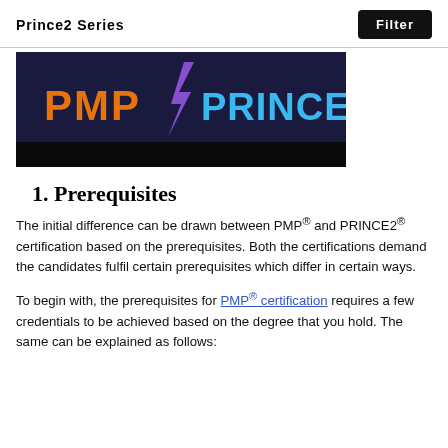Prince2 Series
[Figure (illustration): Dark banner image showing 'PMP' in orange text on the left and 'PRINCE2' in blue text on the right, with a lightning bolt graphic in the center, on a dark navy/black background.]
1. Prerequisites
The initial difference can be drawn between PMP® and PRINCE2® certification based on the prerequisites. Both the certifications demand the candidates fulfil certain prerequisites which differ in certain ways.
To begin with, the prerequisites for PMP® certification requires a few credentials to be achieved based on the degree that you hold. The same can be explained as follows: